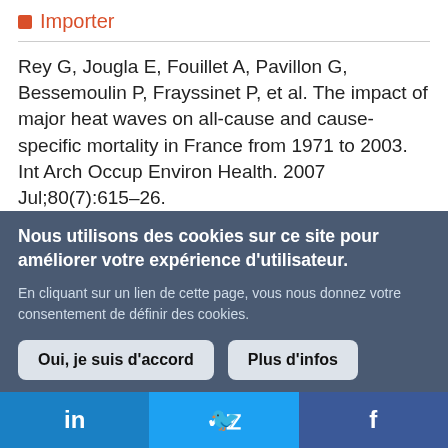Importer
Rey G, Jougla E, Fouillet A, Pavillon G, Bessemoulin P, Frayssinet P, et al. The impact of major heat waves on all-cause and cause-specific mortality in France from 1971 to 2003. Int Arch Occup Environ Health. 2007 Jul;80(7):615–26.
Nous utilisons des cookies sur ce site pour améliorer votre expérience d'utilisateur.
En cliquant sur un lien de cette page, vous nous donnez votre consentement de définir des cookies.
Oui, je suis d'accord
Plus d'infos